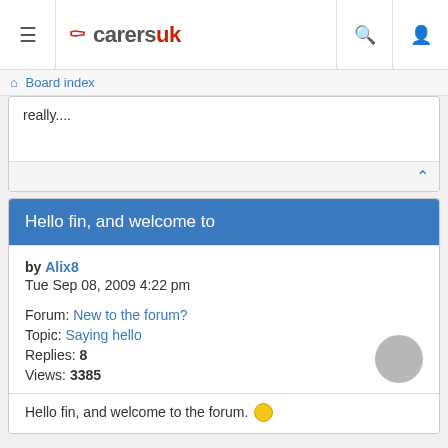carersuk — Board index
really....
Hello fin, and welcome to
by Alix8
Tue Sep 08, 2009 4:22 pm

Forum: New to the forum?
Topic: Saying hello
Replies: 8
Views: 3385
Hello fin, and welcome to the forum. 🙂